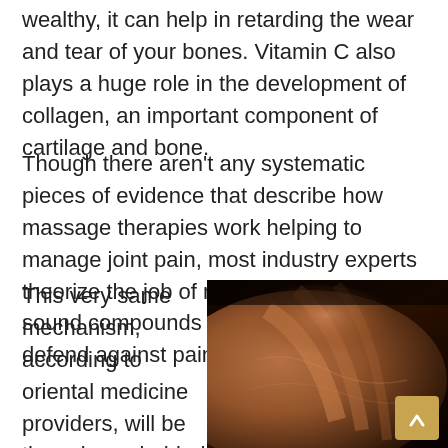wealthy, it can help in retarding the wear and tear of your bones. Vitamin C also plays a huge role in the development of collagen, an important component of cartilage and bone.
Though there aren't any systematic pieces of evidence that describe how massage therapies work helping to manage joint pain, most industry experts theorize the job of massage in releasing sound compounds within the body to help defend against pain.
This very same mechanism, according to oriental medicine providers, will be the science behind acupuncture.
[Figure (photo): Close-up photograph of human skin/body showing muscle or joint contours in dark warm lighting]